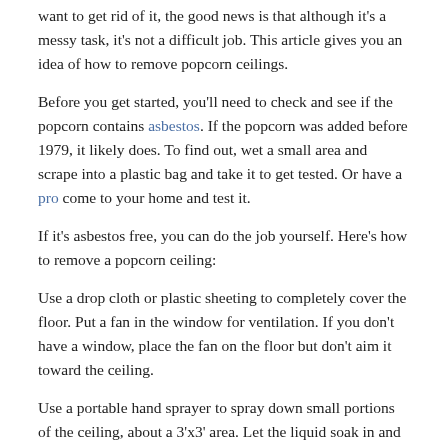want to get rid of it, the good news is that although it's a messy task, it's not a difficult job. This article gives you an idea of how to remove popcorn ceilings.
Before you get started, you'll need to check and see if the popcorn contains asbestos. If the popcorn was added before 1979, it likely does. To find out, wet a small area and scrape into a plastic bag and take it to get tested. Or have a pro come to your home and test it.
If it's asbestos free, you can do the job yourself. Here's how to remove a popcorn ceiling:
Use a drop cloth or plastic sheeting to completely cover the floor. Put a fan in the window for ventilation. If you don't have a window, place the fan on the floor but don't aim it toward the ceiling.
Use a portable hand sprayer to spray down small portions of the ceiling, about a 3'x3' area. Let the liquid soak in and reapply if it gets dry but don't get it too wet or it will damage the drywall.
Scrape using a ceiling texture scraper which contains a handy bag to catch falling debris to remove the popcorn. If you don't have that, a putty scraper will do the trick, but you'll have to